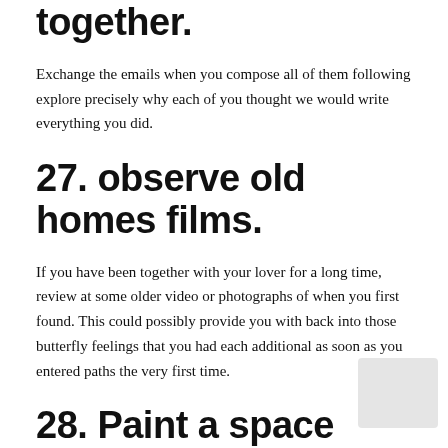together.
Exchange the emails when you compose all of them following explore precisely why each of you thought we would write everything you did.
27. observe old homes films.
If you have been together with your lover for a long time, review at some older video or photographs of when you first found. This could possibly provide you with back into those butterfly feelings that you had each additional as soon as you entered paths the very first time.
28. Paint a space